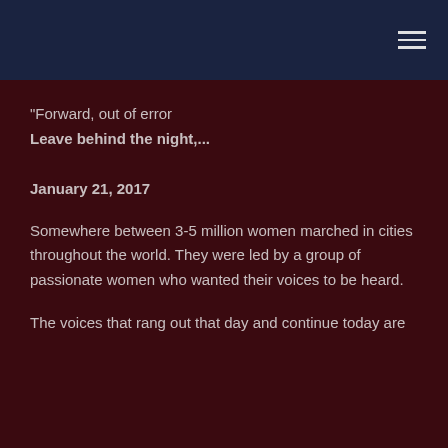"Forward, out of error
Leave behind the night,...
January 21, 2017
Somewhere between 3-5 million women marched in cities throughout the world. They were led by a group of passionate women who wanted their voices to be heard.
The voices that rang out that day and continue today are